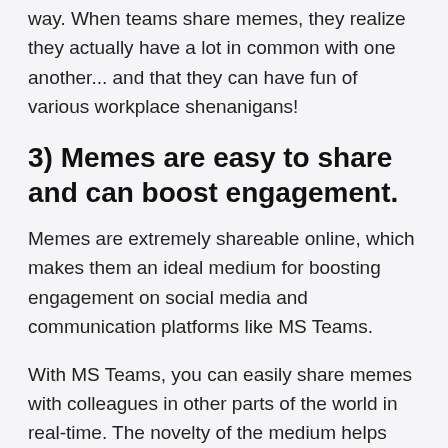way. When teams share memes, they realize they actually have a lot in common with one another... and that they can have fun of various workplace shenanigans!
3) Memes are easy to share and can boost engagement.
Memes are extremely shareable online, which makes them an ideal medium for boosting engagement on social media and communication platforms like MS Teams.
With MS Teams, you can easily share memes with colleagues in other parts of the world in real-time. The novelty of the medium helps keep people engaged.
4) Memes can foster a...